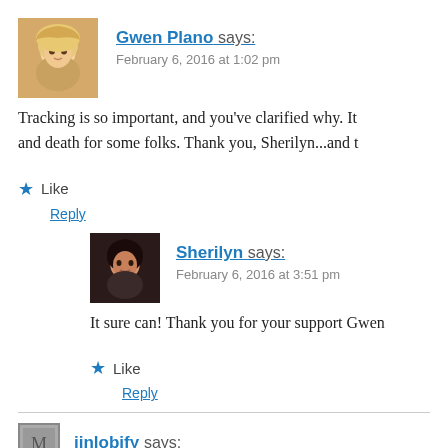[Figure (photo): Avatar photo of Gwen Plano, blonde woman]
Gwen Plano says:
February 6, 2016 at 1:02 pm
Tracking is so important, and you've clarified why. It and death for some folks. Thank you, Sherilyn...and t
★ Like
Reply
[Figure (photo): Avatar photo of Sherilyn, dark-haired woman]
Sherilyn says:
February 6, 2016 at 3:51 pm
It sure can! Thank you for your support Gwen
★ Like
Reply
[Figure (photo): Avatar photo of jinlobify, small icon]
jinlobify says: